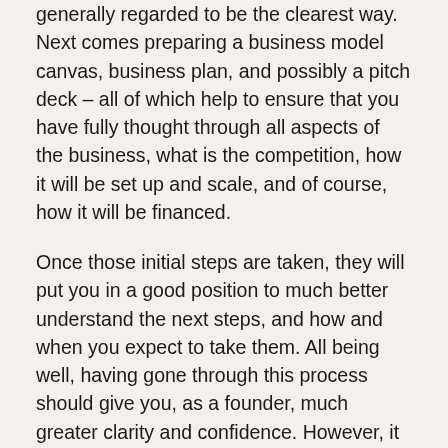generally regarded to be the clearest way. Next comes preparing a business model canvas, business plan, and possibly a pitch deck – all of which help to ensure that you have fully thought through all aspects of the business, what is the competition, how it will be set up and scale, and of course, how it will be financed.
Once those initial steps are taken, they will put you in a good position to much better understand the next steps, and how and when you expect to take them. All being well, having gone through this process should give you, as a founder, much greater clarity and confidence. However, it will also highlight any areas of weakness, together with problems that must be overcome. In my experience, perhaps the biggest weakness that early stage business face, is the lack of access to experienced and knowledgeable assistance at an affordable cost.
A sole founder faces the biggest challenges, but